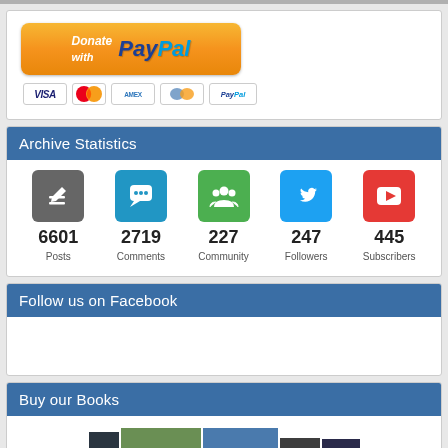[Figure (screenshot): Donate with PayPal button with golden gradient and payment card icons (Visa, Mastercard, Amex, Discover/Cirrus, PayPal)]
Archive Statistics
[Figure (infographic): Five social/stat icons in colored squares: pencil/posts (gray), comment bubble (blue), community/people (green), Twitter bird (blue), play button/subscribers (red) with counts below]
6601 Posts  2719 Comments  227 Community  247 Followers  445 Subscribers
Follow us on Facebook
Buy our Books
[Figure (photo): Collection of Blantyre Project books stacked together showing covers with The Blantyre Project title visible on multiple volumes]